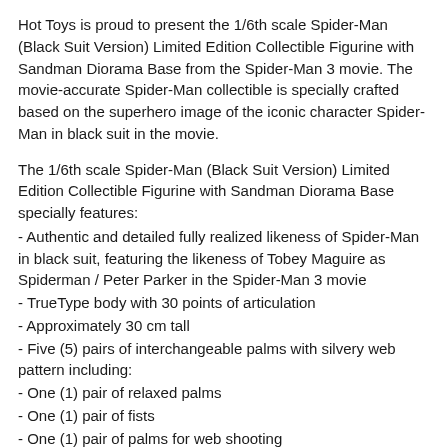Hot Toys is proud to present the 1/6th scale Spider-Man (Black Suit Version) Limited Edition Collectible Figurine with Sandman Diorama Base from the Spider-Man 3 movie. The movie-accurate Spider-Man collectible is specially crafted based on the superhero image of the iconic character Spider-Man in black suit in the movie.
The 1/6th scale Spider-Man (Black Suit Version) Limited Edition Collectible Figurine with Sandman Diorama Base specially features:
- Authentic and detailed fully realized likeness of Spider-Man in black suit, featuring the likeness of Tobey Maguire as Spiderman / Peter Parker in the Spider-Man 3 movie
- TrueType body with 30 points of articulation
- Approximately 30 cm tall
- Five (5) pairs of interchangeable palms with silvery web pattern including:
- One (1) pair of relaxed palms
- One (1) pair of fists
- One (1) pair of palms for web shooting
- One (1) pair of palms for web swinging
- One (1) pair of palms for climbing